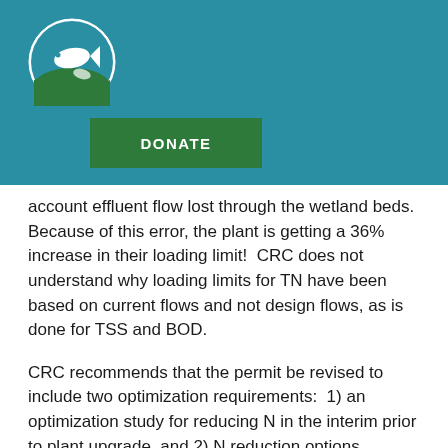[Figure (logo): Circular fish/river logo with white fish on teal/green background]
DONATE
account effluent flow lost through the wetland beds.  Because of this error, the plant is getting a 36% increase in their loading limit!  CRC does not understand why loading limits for TN have been based on current flows and not design flows, as is done for TSS and BOD.
CRC recommends that the permit be revised to include two optimization requirements:  1) an optimization study for reducing N in the interim prior to plant upgrade, and 2) N reduction options